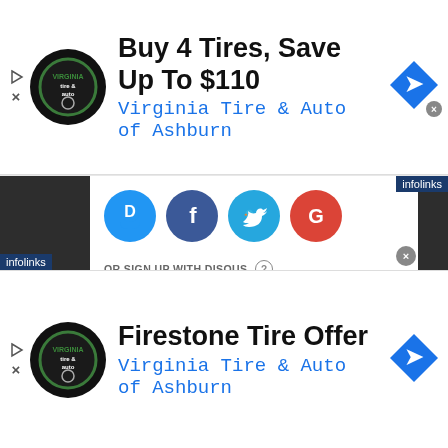[Figure (screenshot): Top advertisement banner: Virginia Tire & Auto of Ashburn - Buy 4 Tires, Save Up To $110]
infolinks
[Figure (screenshot): Disqus comment panel with social login icons (Disqus, Facebook, Twitter, Google), OR SIGN UP WITH DISQUS label, Name input field, and 'Be the first to comment.' placeholder text]
infolinks
[Figure (screenshot): Bottom advertisement banner: Virginia Tire & Auto of Ashburn - Firestone Tire Offer]